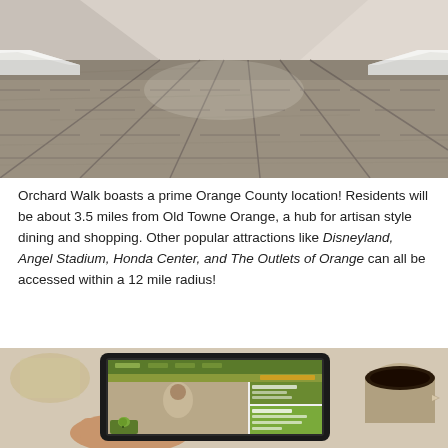[Figure (photo): Interior hallway with gray wood-look flooring, white baseboards, perspective view down corridor]
Orchard Walk boasts a prime Orange County location! Residents will be about 3.5 miles from Old Towne Orange, a hub for artisan style dining and shopping. Other popular attractions like Disneyland, Angel Stadium, Honda Center, and The Outlets of Orange can all be accessed within a 12 mile radius!
[Figure (photo): Hand holding a tablet displaying the Orchard Walk website with green branding, coffee and food in background]